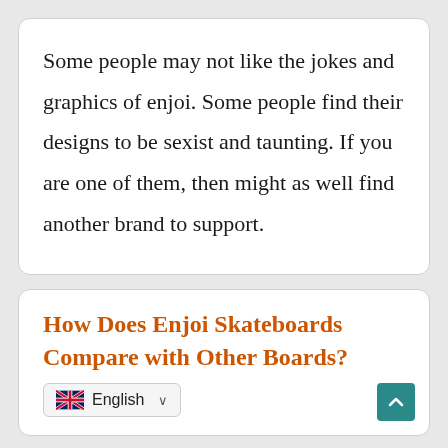Some people may not like the jokes and graphics of enjoi. Some people find their designs to be sexist and taunting. If you are one of them, then might as well find another brand to support.
How Does Enjoi Skateboards Compare with Other Boards?